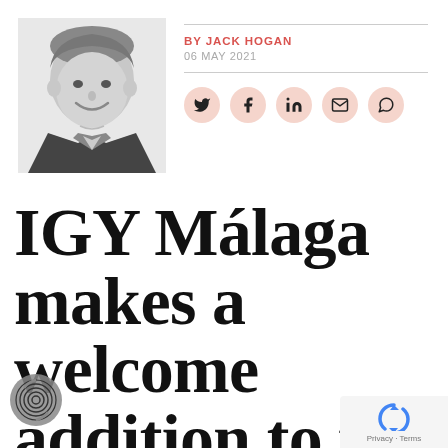[Figure (photo): Black and white portrait photo of a smiling man in a jacket]
BY JACK HOGAN
06 MAY 2021
[Figure (infographic): Social share icons: Twitter, Facebook, LinkedIn, Email, WhatsApp on peach/salmon circular backgrounds]
IGY Málaga makes a welcome addition to the